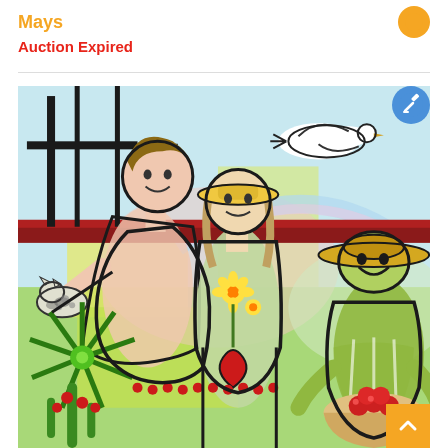Mays
Auction Expired
[Figure (illustration): Colorful folk art style painting featuring multiple human figures in a garden or outdoor scene. A woman holds a cat, another figure holds yellow flowers with a heart below, a man wearing a hat carries fruit, a white dove flies overhead, and a green star/sun shape is on the lower left. The artwork uses bold black outlines with vivid colors including greens, blues, yellows, reds, and pinks, reminiscent of Cubist or Latin American folk art style.]